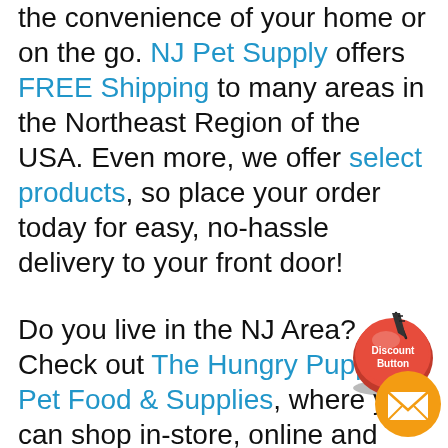the convenience of your home or on the go. NJ Pet Supply offers FREE Shipping to many areas in the Northeast Region of the USA. Even more, we offer select products, so place your order today for easy, no-hassle delivery to your front door!
Do you live in the NJ Area? Check out The Hungry Puppy Pet Food & Supplies, where you can shop in-store, online and place a curbside pickup order or have The Hungry Puppy deliver FREE to your front door in our Central NJ local delivery area!
[Figure (illustration): Red 'Discount Button' button with a hand cursor arrow clicking it, and an orange email envelope icon below it in the bottom-right corner]